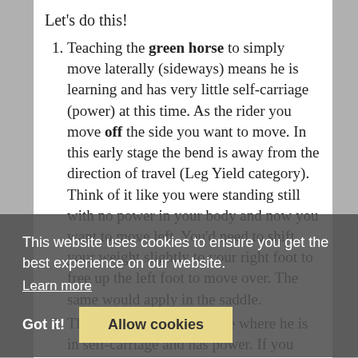Let's do this!
Teaching the green horse to simply move laterally (sideways) means he is learning and has very little self-carriage (power) at this time. As the rider you move off the side you want to move. In this early stage the bend is away from the direction of travel (Leg Yield category). Think of it like you were standing still with no power in your body and now you want to move left. You'd need to shift your weight slightly to your right foot to free up the left foot to move over. The same would apply in the saddle.
The advanced horse is one where he is in self-carriage and has power. If you were to sprint forward with power, you would lean
This website uses cookies to ensure you get the best experience on our website. Learn more
Got it!
Allow cookies